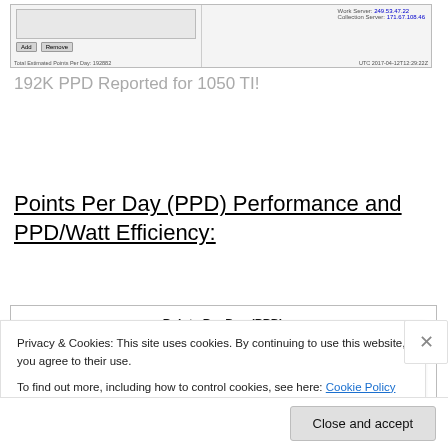[Figure (screenshot): Screenshot of a folding@home client configuration window showing Total Estimated Points Per Day: 192882, Work Server and Collection Server IPs, Add/Remove buttons, UTC timestamp 2017-04-12T12:29:222]
192K PPD Reported for 1050 TI!
Points Per Day (PPD) Performance and PPD/Watt Efficiency:
[Figure (bar-chart): Horizontal bar chart showing Points Per Day (PPD) for Nvidia 1050 Ti with a green bar]
Privacy & Cookies: This site uses cookies. By continuing to use this website, you agree to their use.
To find out more, including how to control cookies, see here: Cookie Policy
Close and accept